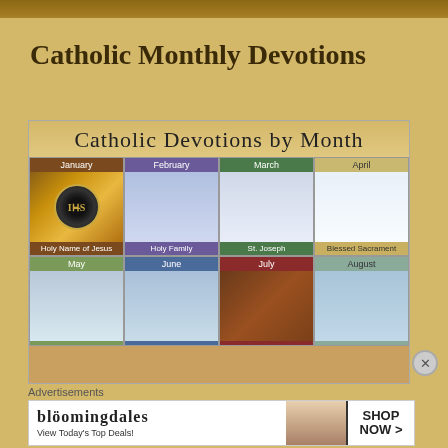Catholic Monthly Devotions
[Figure (infographic): Catholic Devotions by Month chart showing months January through August with religious icons. January: Holy Name of Jesus, February: Holy Family, March: St. Joseph, April: Blessed Sacrament, May, June, July, August shown in second row.]
Advertisements
[Figure (screenshot): Bloomingdale's advertisement banner: 'bloomingdales View Today's Top Deals! SHOP NOW >']